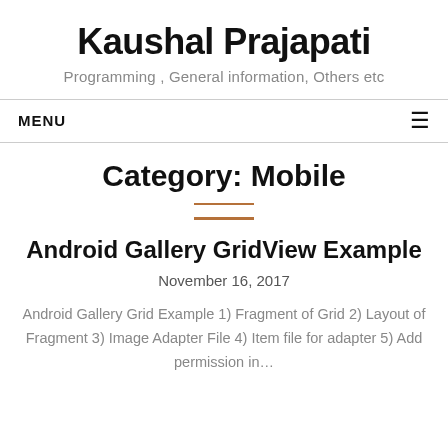Kaushal Prajapati
Programming , General information, Others etc
MENU
Category: Mobile
Android Gallery GridView Example
November 16, 2017
Android Gallery Grid Example 1) Fragment of Grid 2) Layout of Fragment 3) Image Adapter File 4) Item file for adapter 5) Add permission in…